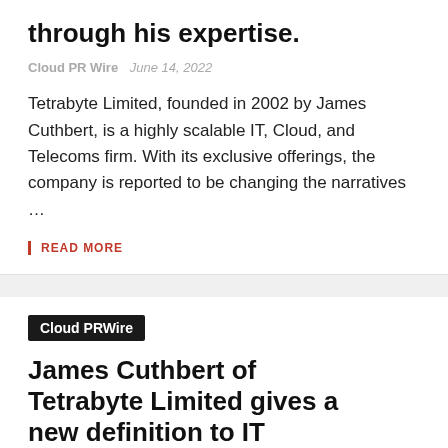through his expertise.
Cloud PR Wire   June 14, 2022
Tetrabyte Limited, founded in 2002 by James Cuthbert, is a highly scalable IT, Cloud, and Telecoms firm. With its exclusive offerings, the company is reported to be changing the narratives …
READ MORE
Cloud PRWire
James Cuthbert of Tetrabyte Limited gives a new definition to IT Services through his expertise.